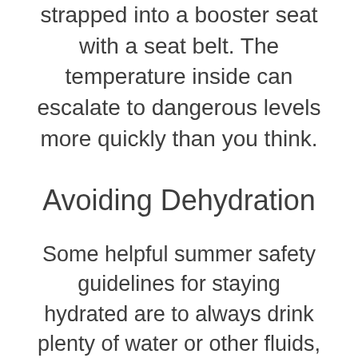strapped into a booster seat with a seat belt. The temperature inside can escalate to dangerous levels more quickly than you think.
Avoiding Dehydration
Some helpful summer safety guidelines for staying hydrated are to always drink plenty of water or other fluids, especially when outdoors for long periods of time.
A sports drink is an excellent solution for quick and easy hydration, as it is fortified with electrolytes that can give you an extra boost. Avoid alcoholic beverages, however, as alcohol can cause you to become more